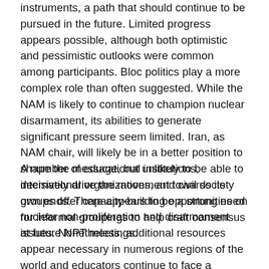instruments, a path that should continue to be pursued in the future. Limited progress appears possible, although both optimistic and pessimistic outlooks were common among participants. Bloc politics play a more complex role than often suggested. While the NAM is likely to continue to champion nuclear disarmament, its abilities to generate significant pressure seem limited. Iran, as NAM chair, will likely be in a better position to shape the message, but unlikely to be able to decisively drive the movement towards its own ends. There appears to be a strong need for informal groupings to help craft consensus at future NPT meetings.
A number of educational institutions, international organizations, and civil society groups offer capacity-building opportunities on nuclear non-proliferation and disarmament issues. Nonetheless, additional resources appear necessary in numerous regions of the world and educators continue to face a number of problems. Nuclear power and its applications continue to play a significant